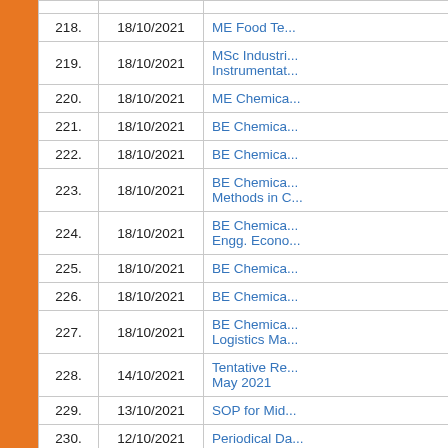| No. | Date | Title |
| --- | --- | --- |
| 218. | 18/10/2021 | ME Food Te... |
| 219. | 18/10/2021 | MSc Industri... Instrumentat... |
| 220. | 18/10/2021 | ME Chemica... |
| 221. | 18/10/2021 | BE Chemica... |
| 222. | 18/10/2021 | BE Chemica... |
| 223. | 18/10/2021 | BE Chemica... Methods in C... |
| 224. | 18/10/2021 | BE Chemica... Engg. Econo... |
| 225. | 18/10/2021 | BE Chemica... |
| 226. | 18/10/2021 | BE Chemica... |
| 227. | 18/10/2021 | BE Chemica... Logistics Ma... |
| 228. | 14/10/2021 | Tentative Re... May 2021 |
| 229. | 13/10/2021 | SOP for Mid... |
| 230. | 12/10/2021 | Periodical Da... |
| 231. | 11/10/2021 | Tentative Re... |